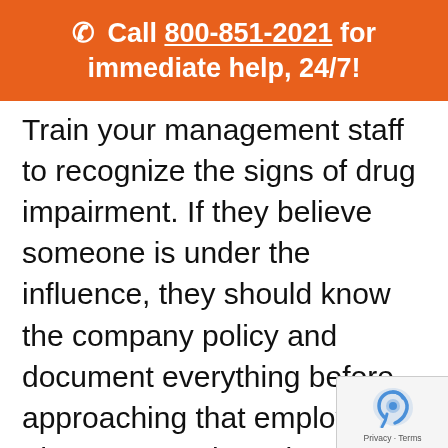Call 800-851-2021 for immediate help, 24/7!
Train your management staff to recognize the signs of drug impairment. If they believe someone is under the influence, they should know the company policy and document everything before approaching that employee. The suspected employee must then report for drug-testing immediately.